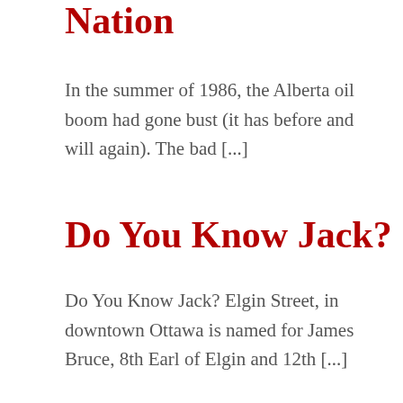Nation
In the summer of 1986, the Alberta oil boom had gone bust (it has before and will again). The bad [...]
Do You Know Jack?
Do You Know Jack? Elgin Street, in downtown Ottawa is named for James Bruce, 8th Earl of Elgin and 12th [...]